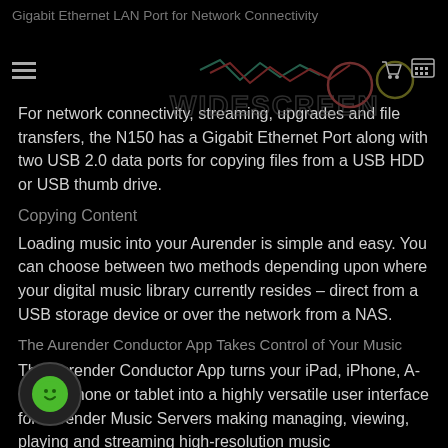Gigabit Ethernet LAN Port for Network Connectivity
For network connectivity, streaming, upgrades and file transfers, the N150 has a Gigabit Ethernet Port along with two USB 2.0 data ports for copying files from a USB HDD or USB thumb drive.
Copying Content
Loading music into your Aurender is simple and easy. You can choose between two methods depending upon where your digital music library currently resides – direct from a USB storage device or over the network from a NAS.
The Aurender Conductor App Takes Control of Your Music
The Aurender Conductor App turns your iPad, iPhone, Android phone or tablet into a highly versatile user interface for Aurender Music Servers making managing, viewing, playing and streaming high-resolution music